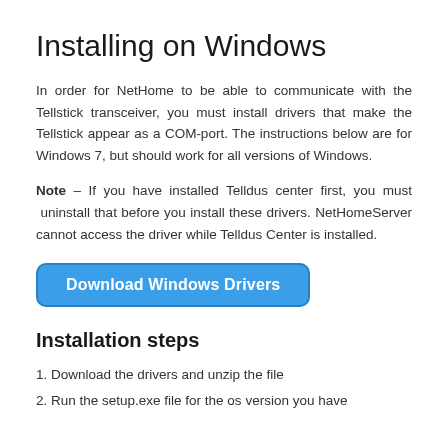Installing on Windows
In order for NetHome to be able to communicate with the Tellstick transceiver, you must install drivers that make the Tellstick appear as a COM-port.  The instructions below are for Windows 7, but should work for all versions of Windows.
Note – If you have installed Telldus center first, you must uninstall that before you install these drivers. NetHomeServer cannot access the driver while Telldus Center is installed.
[Figure (other): Blue rounded button labeled 'Download Windows Drivers']
Installation steps
1. Download the drivers and unzip the file
2. Run the setup.exe file for the os version you have